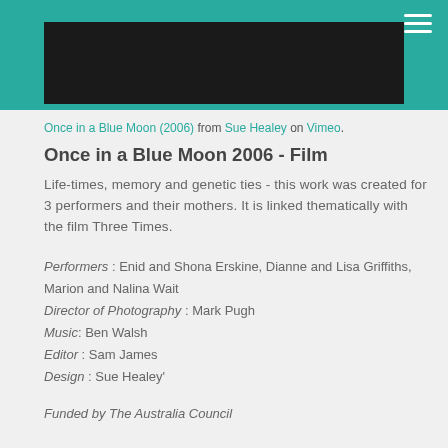[Figure (screenshot): Teal header bar with hamburger menu icon and dark video strip area]
Once in a Blue Moon (2006) from Sue Healey on Vimeo.
Once in a Blue Moon 2006 - Film
Life-times, memory and genetic ties - this work was created for 3 performers and their mothers. It is linked thematically with the film Three Times.
Performers : Enid and Shona Erskine, Dianne and Lisa Griffiths, Marion and Nalina Wait
Director of Photography : Mark Pugh
Music: Ben Walsh
Editor : Sam James
Design : Sue Healey'
Funded by The Australia Council